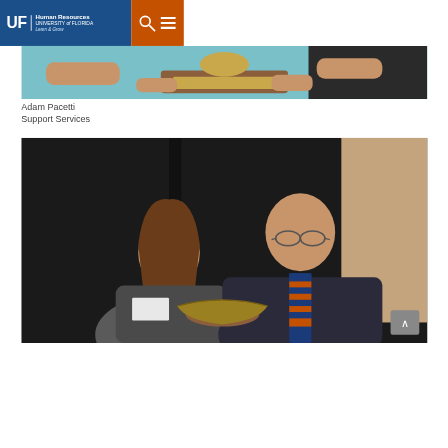UF Human Resources | UNIVERSITY of FLORIDA | Learn & Grow
[Figure (photo): Two people holding a wooden trophy/award between them, hands visible, teal background]
Adam Pacetti
Support Services
[Figure (photo): A woman with long brown hair in a grey jacket and a man in a dark suit with blue and orange striped tie, both smiling and holding a golden gator award]